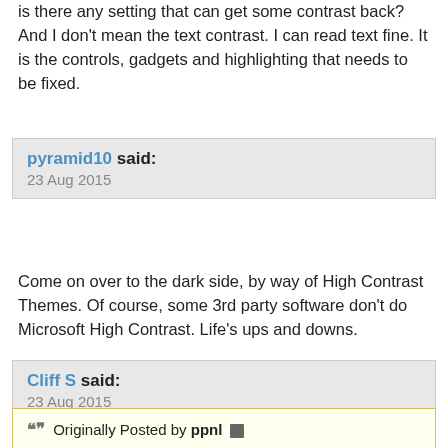is there any setting that can get some contrast back? And I don't mean the text contrast. I can read text fine. It is the controls, gadgets and highlighting that needs to be fixed.
pyramid10 said:
23 Aug 2015
Come on over to the dark side, by way of High Contrast Themes. Of course, some 3rd party software don't do Microsoft High Contrast. Life's ups and downs.
Cliff S said:
23 Aug 2015
Originally Posted by ppnl
What is the deal with windows and contrast? For many years windows has been lowering the contrast to the point that now with windows ten it is often impossible to see. The box I'm typing this in is basically invisible. The scroll bars are gone and I have to find them by waving my